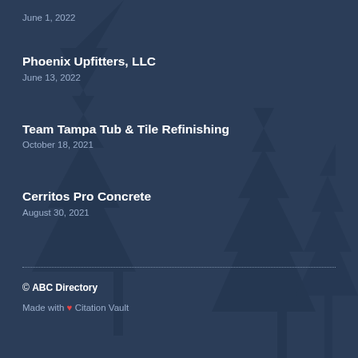June 1, 2022
Phoenix Upfitters, LLC
June 13, 2022
Team Tampa Tub & Tile Refinishing
October 18, 2021
Cerritos Pro Concrete
August 30, 2021
© ABC Directory
Made with ❤ Citation Vault